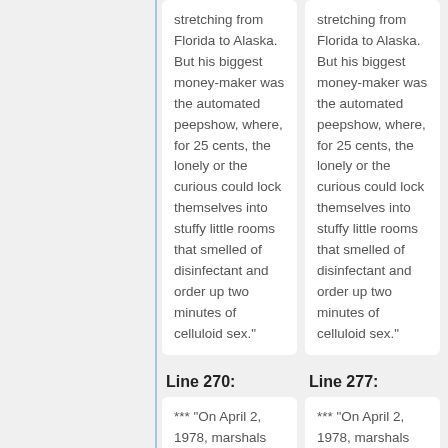stretching from Florida to Alaska. But his biggest money-maker was the automated peepshow, where, for 25 cents, the lonely or the curious could lock themselves into stuffy little rooms that smelled of disinfectant and order up two minutes of celluloid sex."
stretching from Florida to Alaska. But his biggest money-maker was the automated peepshow, where, for 25 cents, the lonely or the curious could lock themselves into stuffy little rooms that smelled of disinfectant and order up two minutes of celluloid sex."
Line 270:
Line 277:
*** "On April 2, 1978, marshals
*** "On April 2, 1978, marshals